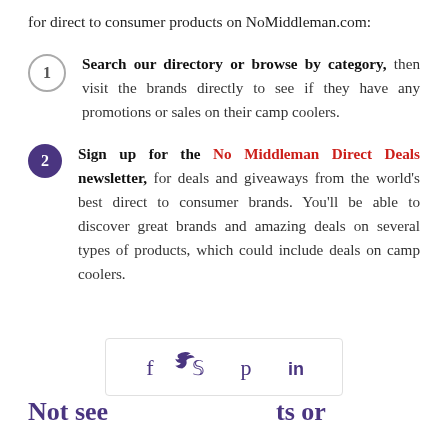for direct to consumer products on NoMiddleman.com:
Search our directory or browse by category, then visit the brands directly to see if they have any promotions or sales on their camp coolers.
Sign up for the No Middleman Direct Deals newsletter, for deals and giveaways from the world's best direct to consumer brands. You'll be able to discover great brands and amazing deals on several types of products, which could include deals on camp coolers.
[Figure (other): Social sharing icons: Facebook, Twitter, Pinterest, LinkedIn]
Not see... ts or ...